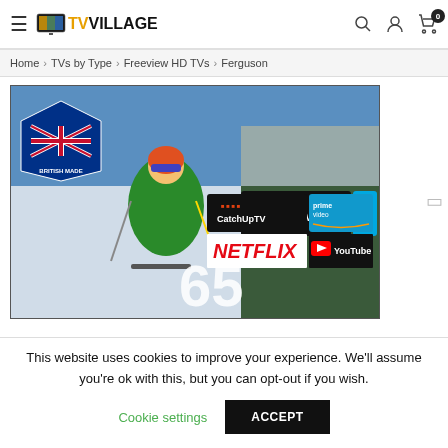TVVillage - Home > TVs by Type > Freeview HD TVs > Ferguson
[Figure (screenshot): TV Village website screenshot showing a 65-inch Ferguson TV with skiing scene, British Made badge, CatchUpTV, prime video, NETFLIX, and YouTube logos]
This website uses cookies to improve your experience. We'll assume you're ok with this, but you can opt-out if you wish.
Cookie settings   ACCEPT